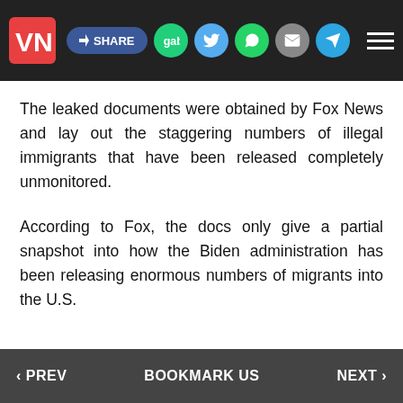VN | SHARE | gab | Twitter | WhatsApp | Email | Telegram | Menu
The leaked documents were obtained by Fox News and lay out the staggering numbers of illegal immigrants that have been released completely unmonitored.
According to Fox, the docs only give a partial snapshot into how the Biden administration has been releasing enormous numbers of migrants into the U.S.
‹ PREV   BOOKMARK US   NEXT ›